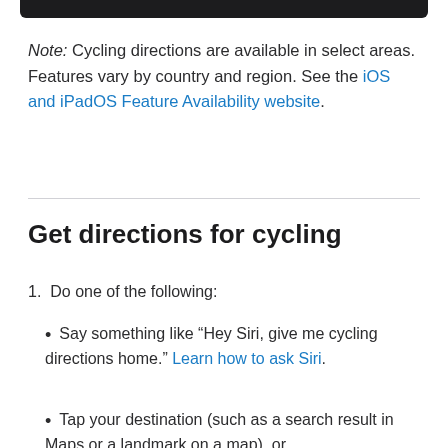[Figure (screenshot): Top portion of a device screenshot (cropped), showing dark bar at top]
Note: Cycling directions are available in select areas. Features vary by country and region. See the iOS and iPadOS Feature Availability website.
Get directions for cycling
1. Do one of the following:
Say something like “Hey Siri, give me cycling directions home.” Learn how to ask Siri.
Tap your destination (such as a search result in Maps or a landmark on a map), or